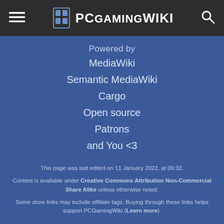PCGamingWiki
Powered by
MediaWiki
Semantic MediaWiki
Cargo
Open source
Patrons
and You <3
This page was last edited on 11 January 2022, at 09:32.
Content is available under Creative Commons Attribution Non-Commercial Share Alike unless otherwise noted.
Some store links may include affiliate tags. Buying through these links helps support PCGamingWiki (Learn more).